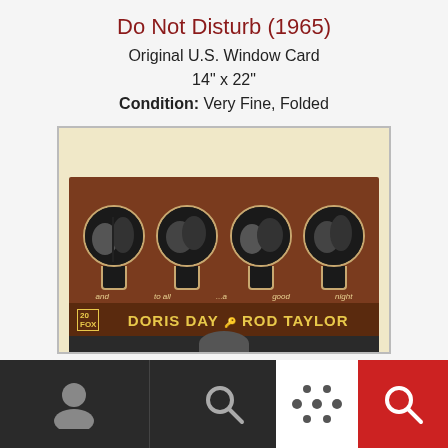Do Not Disturb (1965)
Original U.S. Window Card
14" x 22"
Condition: Very Fine, Folded
[Figure (photo): Movie window card for 'Do Not Disturb' (1965) featuring Doris Day and Rod Taylor. The card shows four keyhole-shaped vignettes with couples on a brown background, with tagline 'and to all ...a good night' and the 20th Century Fox logo. Below is partially visible artwork.]
Navigation bar with person icon, search icon, and red buttons with icons